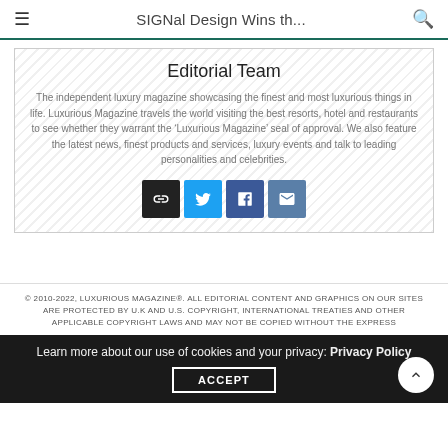SIGNal Design Wins th...
Editorial Team
The independent luxury magazine showcasing the finest and most luxurious things in life. Luxurious Magazine travels the world visiting the best resorts, hotel and restaurants to see whether they warrant the 'Luxurious Magazine' seal of approval. We also feature the latest news, finest products and services, luxury events and talk to leading personalities and celebrities.
[Figure (other): Social media icon buttons: link, Twitter, Facebook, email]
© 2010-2022, LUXURIOUS MAGAZINE®. ALL EDITORIAL CONTENT AND GRAPHICS ON OUR SITES ARE PROTECTED BY U.K AND U.S. COPYRIGHT, INTERNATIONAL TREATIES AND OTHER APPLICABLE COPYRIGHT LAWS AND MAY NOT BE COPIED WITHOUT THE EXPRESS
Learn more about our use of cookies and your privacy: Privacy Policy